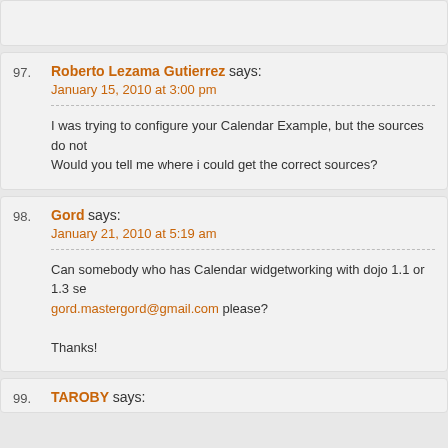97. Roberto Lezama Gutierrez says: January 15, 2010 at 3:00 pm — I was trying to configure your Calendar Example, but the sources do not… Would you tell me where i could get the correct sources?
98. Gord says: January 21, 2010 at 5:19 am — Can somebody who has Calendar widgetworking with dojo 1.1 or 1.3 se… gord.mastergord@gmail.com please? Thanks!
99. TAROBY says: